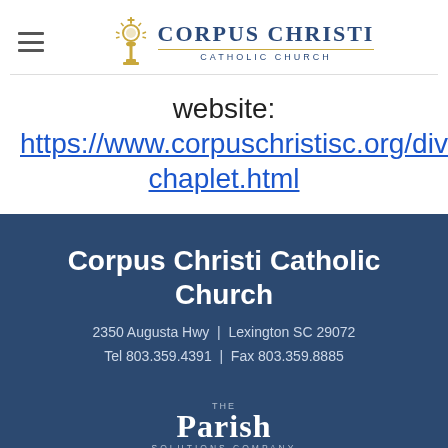Corpus Christi Catholic Church
website: https://www.corpuschristisc.org/divinemercy-chaplet.html
Corpus Christi Catholic Church
2350 Augusta Hwy  |  Lexington SC 29072
Tel 803.359.4391  |  Fax 803.359.8885
[Figure (logo): The Parish Solutions Company logo in white on dark blue background]